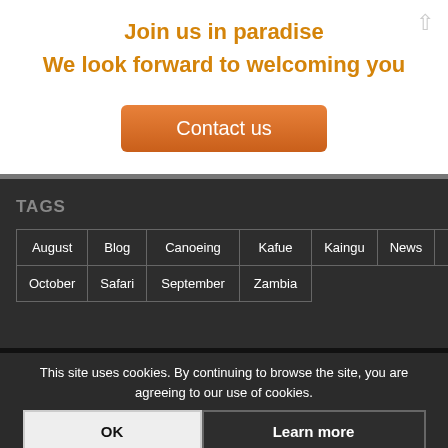Join us in paradise
We look forward to welcoming you
Contact us
TAGS
| August | Blog | Canoeing | Kafue | Kaingu | News | November |
| October | Safari | September | Zambia |
This site uses cookies. By continuing to browse the site, you are agreeing to our use of cookies.
OK
Learn more
Safari lodge type person with a passion for image making. Mostly seen casing out tortor and Kafue National Park, occasionally other places in Zambia